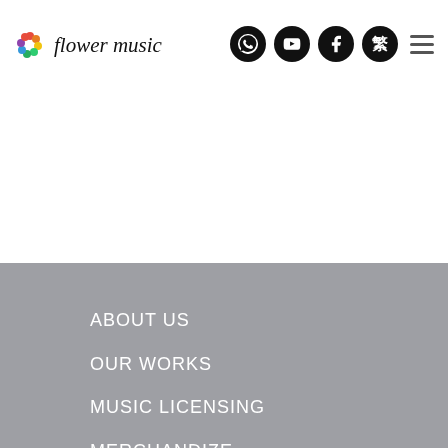flower music — navigation header with logo and social icons
ABOUT US
OUR WORKS
MUSIC LICENSING
MERCHANDIZE